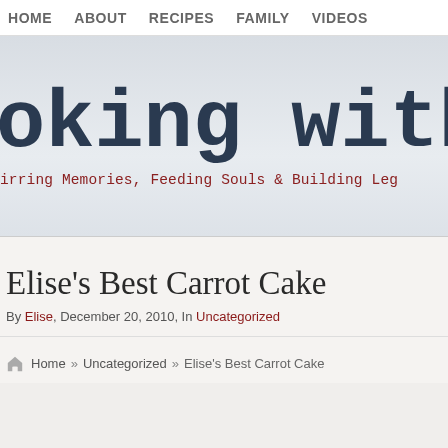HOME   ABOUT   RECIPES   FAMILY   VIDEOS
oking with E
irring Memories, Feeding Souls & Building Leg
Elise's Best Carrot Cake
By Elise, December 20, 2010, In Uncategorized
Home » Uncategorized » Elise's Best Carrot Cake